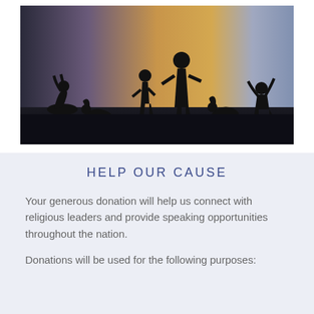[Figure (photo): Silhouettes of people in prayer poses — some kneeling, some bowing, one standing with arms raised — against a warm sunset sky background.]
HELP OUR CAUSE
Your generous donation will help us connect with religious leaders and provide speaking opportunities throughout the nation.
Donations will be used for the following purposes: